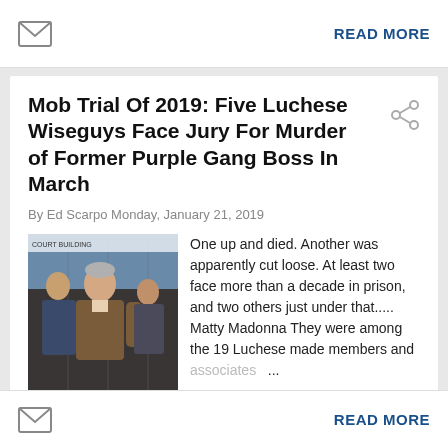READ MORE
Mob Trial Of 2019: Five Luchese Wiseguys Face Jury For Murder of Former Purple Gang Boss In March
By Ed Scarpo Monday, January 21, 2019
[Figure (photo): Photo of an elderly man in a brown jacket being escorted, with other people in the background]
One up and died. Another was apparently cut loose. At least two face more than a decade in prison, and two others just under that..... Matty Madonna They were among the 19 Luchese made members and associates ...
READ MORE